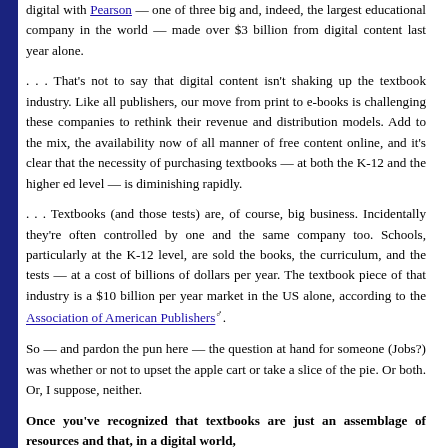digital with Pearson — one of three big and, indeed, the largest educational company in the world — made over $3 billion from digital content last year alone.
. . . That's not to say that digital content isn't shaking up the textbook industry. Like all publishers, our move from print to e-books is challenging these companies to rethink their revenue and distribution models. Add to the mix, the availability now of all manner of free content online, and it's clear that the necessity of purchasing textbooks — at both the K-12 and the higher ed level — is diminishing rapidly.
. . . Textbooks (and those tests) are, of course, big business. Incidentally they're often controlled by one and the same company too. Schools, particularly at the K-12 level, are sold the books, the curriculum, and the tests — at a cost of billions of dollars per year. The textbook piece of that industry is a $10 billion per year market in the US alone, according to the Association of American Publishers.
So — and pardon the pun here — the question at hand for someone (Jobs?) was whether or not to upset the apple cart or take a slice of the pie. Or both. Or, I suppose, neither.
Once you've recognized that textbooks are just an assemblage of resources and that, in a digital world, they become yet a bit tatter than when publishers the...